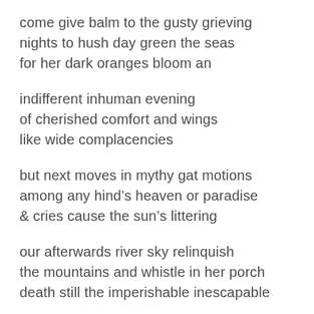come give balm to the gusty grieving
nights to hush day green the seas
for her dark oranges bloom an
indifferent inhuman evening
of cherished comfort and wings
like wide complacencies
but next moves in mythy gat motions
among any hind's heaven or paradise
& cries cause the sun's littering
our afterwards river sky relinquish
the mountains and whistle in her porch
death still the imperishable inescapable
for receding boughs to wear sleeplessly